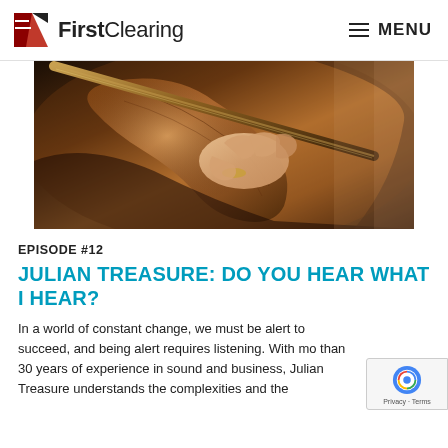FirstClearing | MENU
[Figure (photo): Close-up photograph of a musician's hand holding a violin bow, playing a violin, warm brown tones.]
EPISODE #12
JULIAN TREASURE: DO YOU HEAR WHAT I HEAR?
In a world of constant change, we must be alert to succeed, and being alert requires listening. With more than 30 years of experience in sound and business, Julian Treasure understands the complexities and the